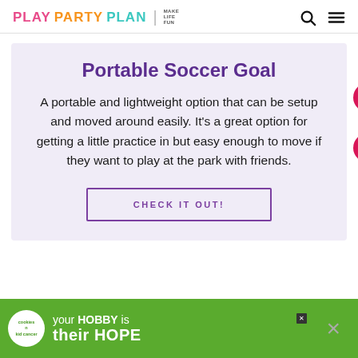PLAY PARTY PLAN | MAKE LIFE FUN
Portable Soccer Goal
A portable and lightweight option that can be setup and moved around easily. It's a great option for getting a little practice in but easy enough to move if they want to play at the park with friends.
CHECK IT OUT!
[Figure (screenshot): Advertisement banner: 'cookies n kid cancer' logo with text 'your HOBBY is their HOPE' on green background]